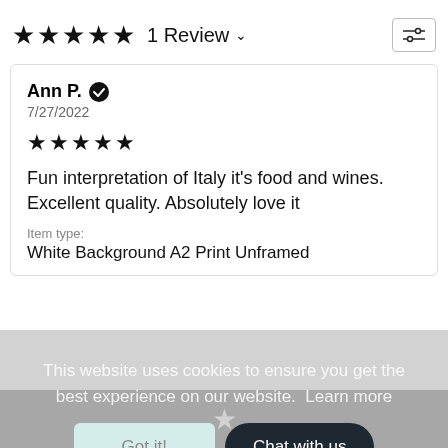★★★★★ 1 Review ∨
Ann P. ✔
7/27/2022
[Figure (other): Five filled stars rating]
Fun interpretation of Italy it's food and wines. Excellent quality. Absolutely love it
Item type:
White Background A2 Print Unframed
This website uses cookies to ensure you get the best experience on our website. Learn more
Got it!
Chat with us
[Figure (other): Star icon in black bar at bottom]